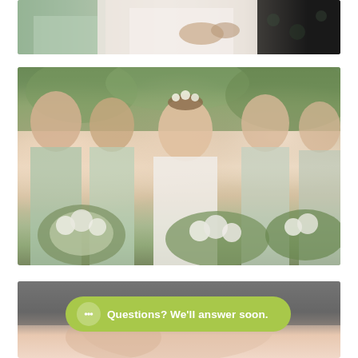[Figure (photo): Partial wedding photo showing bridesmaids in sage green dresses and bride in white lace dress, cropped at top]
[Figure (photo): Wedding party photo with bride wearing floral crown/headpiece and bridesmaids in light mint/sage dresses, all holding white and green bouquets, laughing and smiling outdoors with green foliage background]
[Figure (photo): Partial photo at bottom, blurred/dark, appears to show people at a wedding event]
Questions? We'll answer soon.